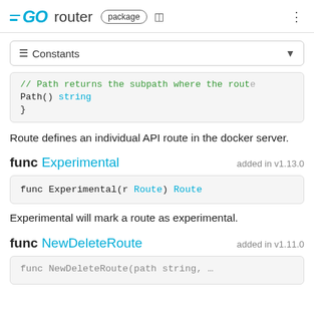GO router package
≡ Constants
// Path returns the subpath where the route
Path() string
}
Route defines an individual API route in the docker server.
func Experimental  added in v1.13.0
func Experimental(r Route) Route
Experimental will mark a route as experimental.
func NewDeleteRoute  added in v1.11.0
func NewDeleteRoute(path string, ...